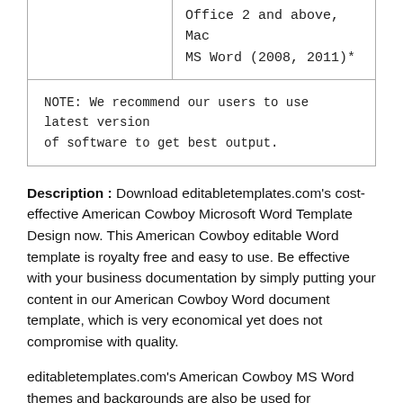|  | Office 2 and above, Mac MS Word (2008, 2011)* |
| NOTE: We recommend our users to use latest version of software to get best output. |  |
Description : Download editabletemplates.com's cost-effective American Cowboy Microsoft Word Template Design now. This American Cowboy editable Word template is royalty free and easy to use. Be effective with your business documentation by simply putting your content in our American Cowboy Word document template, which is very economical yet does not compromise with quality.
editabletemplates.com's American Cowboy MS Word themes and backgrounds are also be used for ranching,rodeo,american